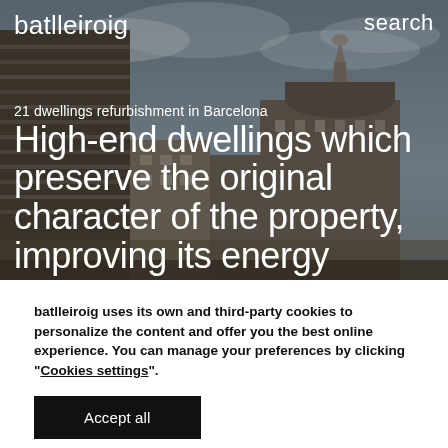batlleiroig
search
[Figure (photo): Aerial/street view photograph of a historic Barcelona cityscape with ornate classical buildings under a cloudy grey sky, used as a hero background image]
21 dwellings refurbishment in Barcelona
High-end dwellings which preserve the original character of the property, improving its energy
batlleiroig uses its own and third-party cookies to personalize the content and offer you the best online experience. You can manage your preferences by clicking "Cookies settings".